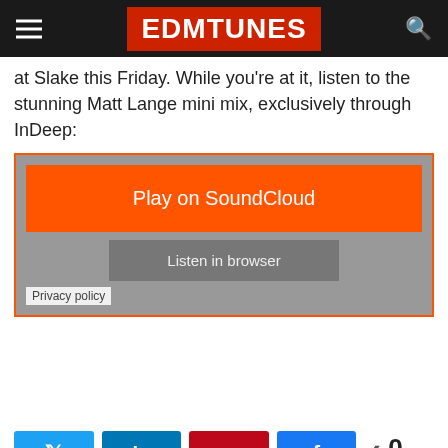EDMTUNES
at Slake this Friday. While you're at it, listen to the stunning Matt Lange mini mix, exclusively through InDeep:
[Figure (screenshot): SoundCloud embedded player widget with orange 'Play on SoundCloud' button, grey 'Listen in browser' button, and 'Privacy policy' link on grey background with orange border.]
[Figure (infographic): Social share buttons: Twitter (blue), LinkedIn (blue), Pinterest (red), Facebook (blue), and share count showing 0 SHARES.]
TAGS  #ABGT100  EDM  house  InDeep  matt lange  Slake